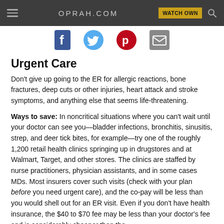OPRAH.COM  WATCH OWN
[Figure (illustration): Social media sharing icons: Facebook, Twitter, Pinterest, Email/envelope]
Urgent Care
Don't give up going to the ER for allergic reactions, bone fractures, deep cuts or other injuries, heart attack and stroke symptoms, and anything else that seems life-threatening.
Ways to save: In noncritical situations where you can't wait until your doctor can see you—bladder infections, bronchitis, sinusitis, strep, and deer tick bites, for example—try one of the roughly 1,200 retail health clinics springing up in drugstores and at Walmart, Target, and other stores. The clinics are staffed by nurse practitioners, physician assistants, and in some cases MDs. Most insurers cover such visits (check with your plan before you need urgent care), and the co-pay will be less than you would shell out for an ER visit. Even if you don't have health insurance, the $40 to $70 fee may be less than your doctor's fee and is considerably cheaper than the